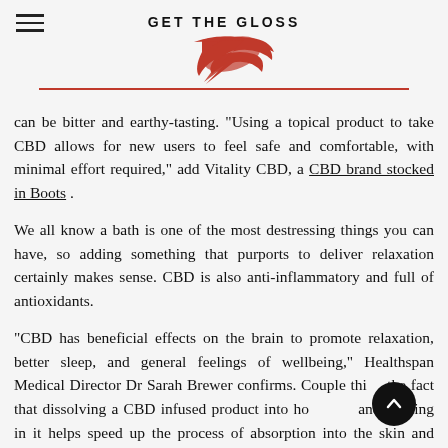GET THE GLOSS
can be bitter and earthy-tasting. “Using a topical product to take CBD allows for new users to feel safe and comfortable, with minimal effort required,” add Vitality CBD, a CBD brand stocked in Boots .
We all know a bath is one of the most destressing things you can have, so adding something that purports to deliver relaxation certainly makes sense. CBD is also anti-inflammatory and full of antioxidants.
"CBD has beneficial effects on the brain to promote relaxation, better sleep, and general feelings of wellbeing," Healthspan Medical Director Dr Sarah Brewer confirms. Couple this with the fact that dissolving a CBD infused product into hot water and soaking in it helps speed up the process of absorption into the skin and bloodstream and you're on to a winner – while